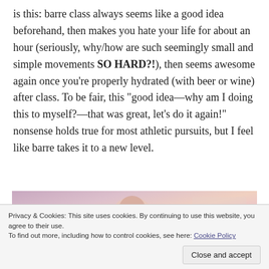is this: barre class always seems like a good idea beforehand, then makes you hate your life for about an hour (seriously, why/how are such seemingly small and simple movements SO HARD?!), then seems awesome again once you're properly hydrated (with beer or wine) after class. To be fair, this "good idea—why am I doing this to myself?—that was great, let's do it again!" nonsense holds true for most athletic pursuits, but I feel like barre takes it to a new level.
[Figure (photo): Photo of a person with their hands raised above their head, appears to be doing a barre exercise or similar movement. Warm pink/peach tones.]
Privacy & Cookies: This site uses cookies. By continuing to use this website, you agree to their use.
To find out more, including how to control cookies, see here: Cookie Policy
Close and accept
[Figure (photo): Partial photo at bottom of page, cropped. Appears to show a person, warm pink/purple tones.]